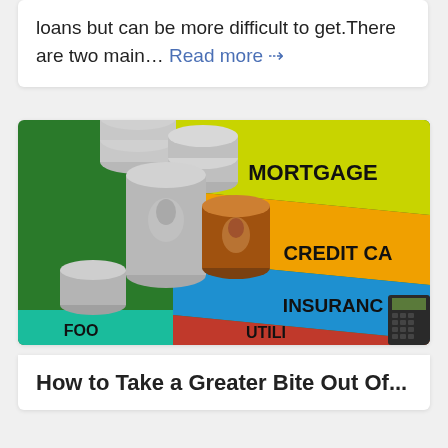loans but can be more difficult to get.There are two main… Read more →
[Figure (photo): Stacks of US coins (quarters and penny) arranged on top of colorful cards labeled MORTGAGE, CREDIT CA(RD), INSURANC(E), FOOD, UTILI(TIES) — a budgeting concept image.]
How to Take a Greater Bite Out Of...